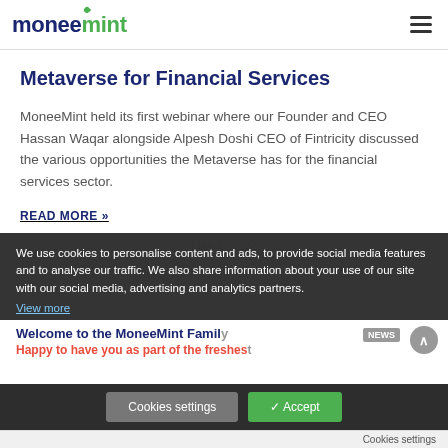moneemint
Metaverse for Financial Services
MoneeMint held its first webinar where our Founder and CEO Hassan Waqar alongside Alpesh Doshi CEO of Fintricity discussed the various opportunities the Metaverse has for the financial services sector.
READ MORE »
May 8, 2022
We use cookies to personalise content and ads, to provide social media features and to analyse our traffic. We also share information about your use of our site with our social media, advertising and analytics partners.
View more
Welcome to the MoneeMint Family
Happy to have you as part of the freshest banking experience!
Cookies settings
Accept
Cookies settings